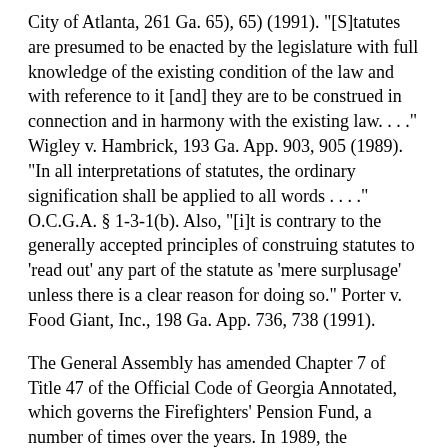City of Atlanta, 261 Ga. 65), 65) (1991). "[S]tatutes are presumed to be enacted by the legislature with full knowledge of the existing condition of the law and with reference to it [and] they are to be construed in connection and in harmony with the existing law. . . ." Wigley v. Hambrick, 193 Ga. App. 903, 905 (1989). "In all interpretations of statutes, the ordinary signification shall be applied to all words . . . ." O.C.G.A. § 1-3-1(b). Also, "[i]t is contrary to the generally accepted principles of construing statutes to 'read out' any part of the statute as 'mere surplusage' unless there is a clear reason for doing so." Porter v. Food Giant, Inc., 198 Ga. App. 736, 738 (1991).
The General Assembly has amended Chapter 7 of Title 47 of the Official Code of Georgia Annotated, which governs the Firefighters' Pension Fund, a number of times over the years. In 1989, the legislature amended O.C.G.A. § 47-7-41 to provide, in pertinent part:
(b)(2) Any member who, upon leaving work as a fireman or volunteer fireman, withdraws the dues